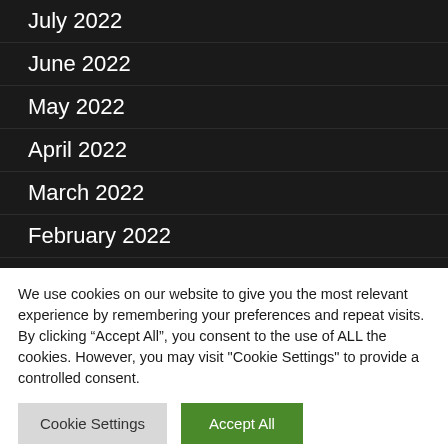July 2022
June 2022
May 2022
April 2022
March 2022
February 2022
January 2022
December 2021
We use cookies on our website to give you the most relevant experience by remembering your preferences and repeat visits. By clicking “Accept All”, you consent to the use of ALL the cookies. However, you may visit "Cookie Settings" to provide a controlled consent.
Cookie Settings | Accept All